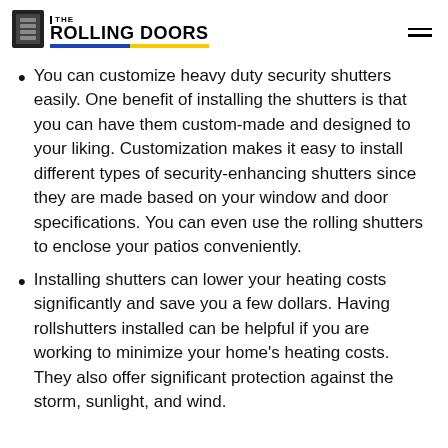THE ROLLING DOORS
You can customize heavy duty security shutters easily. One benefit of installing the shutters is that you can have them custom-made and designed to your liking. Customization makes it easy to install different types of security-enhancing shutters since they are made based on your window and door specifications. You can even use the rolling shutters to enclose your patios conveniently.
Installing shutters can lower your heating costs significantly and save you a few dollars. Having rollshutters installed can be helpful if you are working to minimize your home's heating costs. They also offer significant protection against the storm, sunlight, and wind.